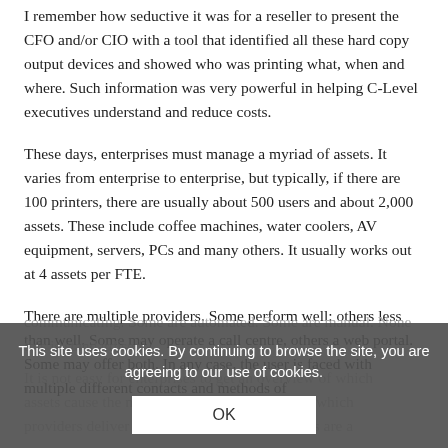I remember how seductive it was for a reseller to present the CFO and/or CIO with a tool that identified all these hard copy output devices and showed who was printing what, when and where. Such information was very powerful in helping C-Level executives understand and reduce costs.
These days, enterprises must manage a myriad of assets. It varies from enterprise to enterprise, but typically, if there are 100 printers, there are usually about 500 users and about 2,000 assets. These include coffee machines, water coolers, AV equipment, servers, PCs and many others. It usually works out at 4 assets per FTE.
There are multiple providers. Some perform well: others less than well. Some may operate a call centre, others a web portal. Some may offer both. In any case, the user is faced with multiple different contacts and methods of communicating. Some are automated. Some are manual. None this is standardised.
It is not easy for enterprises to get an overview of which assets cause the most disruption to workflows, which providers deliver good service, and which users are a
This site uses cookies. By continuing to browse the site, you are agreeing to our use of cookies.